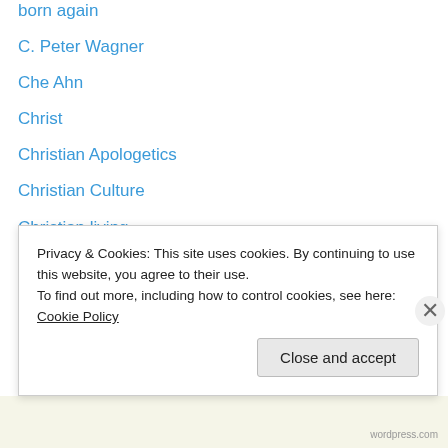born again
C. Peter Wagner
Che Ahn
Christ
Christian Apologetics
Christian Culture
Christian living
Christology
Chuck D. Pierce
Chuck Swindoll
Commenting on CrossWise
Contemplative Prayer
Contemplative Spirituality
Craig Keener
Privacy & Cookies: This site uses cookies. By continuing to use this website, you agree to their use. To find out more, including how to control cookies, see here: Cookie Policy
Close and accept